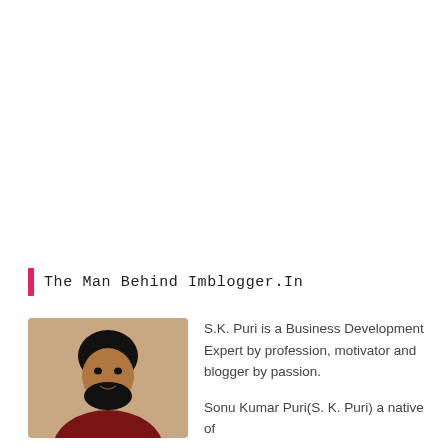The Man Behind Imblogger.In
[Figure (photo): Portrait photo of S.K. Puri, a young man with black hair and beard, wearing a dark red/maroon outfit]
S.K. Puri is a Business Development Expert by profession, motivator and blogger by passion.
Sonu Kumar Puri(S. K. Puri) a native of